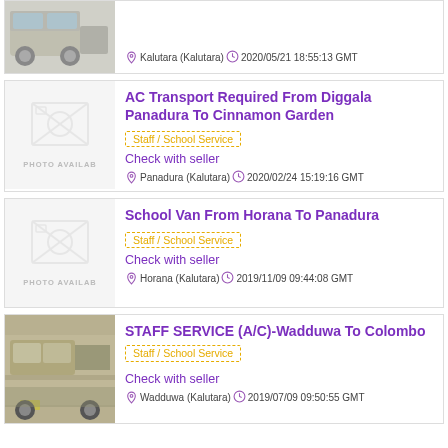[Figure (photo): Partial view of a silver/grey van from the front-left, top of listing cut off]
Kalutara (Kalutara)  2020/05/21 18:55:13 GMT
AC Transport Required From Diggala Panadura To Cinnamon Garden
Staff / School Service
Check with seller
Panadura (Kalutara)  2020/02/24 15:19:16 GMT
[Figure (photo): Photo placeholder with camera icon — PHOTO AVAILAB]
School Van From Horana To Panadura
Staff / School Service
Check with seller
Horana (Kalutara)  2019/11/09 09:44:08 GMT
[Figure (photo): Photo placeholder with camera icon — PHOTO AVAILAB]
STAFF SERVICE (A/C)-Wadduwa To Colombo
Staff / School Service
Check with seller
Wadduwa (Kalutara)  2019/07/09 09:50:55 GMT
[Figure (photo): Rear view of a gold/silver van parked outdoors]